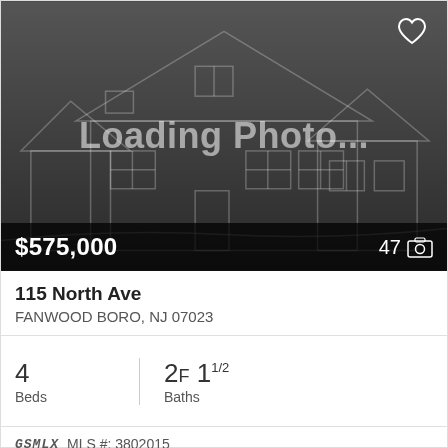[Figure (illustration): Dark gray placeholder image showing a white outline/wireframe drawing of a two-story house. Center text reads 'Loading Photo...' in large white bold text. A heart (favorite) icon appears in the top-right corner. Bottom bar shows price '$575,000' on the left and '47' with a camera icon on the right.]
115 North Ave
FANWOOD BORO, NJ 07023
4 Beds
2F 1 1/2 Baths
GSMLX MLS #: 3802015